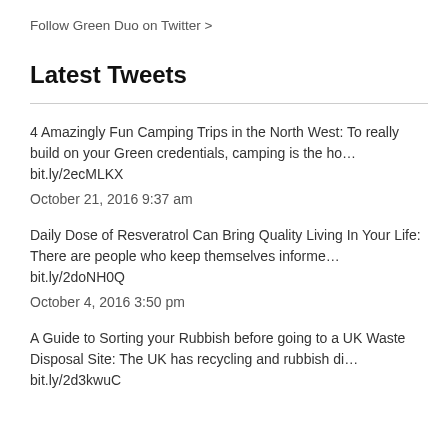Follow Green Duo on Twitter >
Latest Tweets
4 Amazingly Fun Camping Trips in the North West: To really build on your Green credentials, camping is the ho… bit.ly/2ecMLKX
October 21, 2016 9:37 am
Daily Dose of Resveratrol Can Bring Quality Living In Your Life: There are people who keep themselves informe… bit.ly/2doNH0Q
October 4, 2016 3:50 pm
A Guide to Sorting your Rubbish before going to a UK Waste Disposal Site: The UK has recycling and rubbish di… bit.ly/2d3kwuC